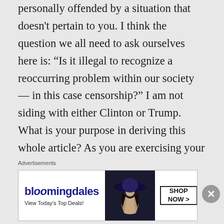personally offended by a situation that doesn't pertain to you. I think the question we all need to ask ourselves here is: “Is it illegal to recognize a reoccurring problem within our society — in this case censorship?” I am not siding with either Clinton or Trump. What is your purpose in deriving this whole article? As you are exercising your right of free speech, why be hypocritical and deny someone else of their rights? Regardless of if she
Advertisements
[Figure (other): Bloomingdale's advertisement banner with logo, tagline 'View Today's Top Deals!', image of a woman in a wide-brim hat, and a 'SHOP NOW >' call-to-action button.]